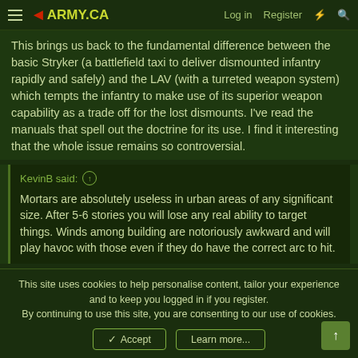◄ARMY.CA  Log in  Register
This brings us back to the fundamental difference between the basic Stryker (a battlefield taxi to deliver dismounted infantry rapidly and safely) and the LAV (with a turreted weapon system) which tempts the infantry to make use of its superior weapon capability as a trade off for the lost dismounts. I've read the manuals that spell out the doctrine for its use. I find it interesting that the whole issue remains so controversial.
KevinB said: ↑
Mortars are absolutely useless in urban areas of any significant size. After 5-6 stories you will lose any real ability to target things. Winds among building are notoriously awkward and will play havoc with those even if they do have the correct arc to hit.
This site uses cookies to help personalise content, tailor your experience and to keep you logged in if you register.
By continuing to use this site, you are consenting to our use of cookies.